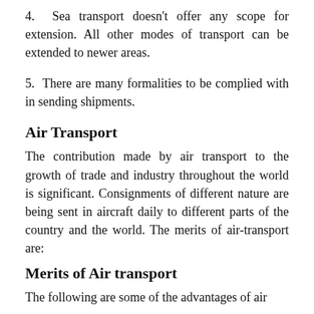4. Sea transport doesn't offer any scope for extension. All other modes of transport can be extended to newer areas.
5. There are many formalities to be complied with in sending shipments.
Air Transport
The contribution made by air transport to the growth of trade and industry throughout the world is significant. Consignments of different nature are being sent in aircraft daily to different parts of the country and the world. The merits of air-transport are:
Merits of Air transport
The following are some of the advantages of air